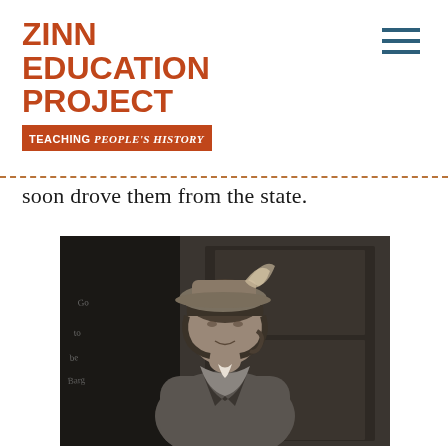ZINN EDUCATION PROJECT — TEACHING PEOPLE'S HISTORY
soon drove them from the state.
[Figure (photo): Black and white historical photograph of a woman wearing a hat with feathers and a heavy coat, seated in front of what appears to be a wooden wardrobe or cabinet. There is handwritten text visible on the left side of the image.]